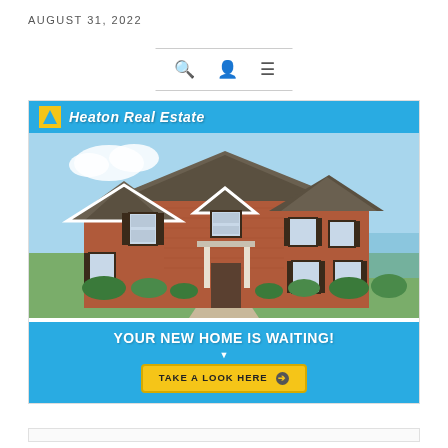AUGUST 31, 2022
[Figure (screenshot): Navigation bar with search icon, user icon, and hamburger menu icon]
[Figure (infographic): Heaton Real Estate advertisement showing a large brick house photo with blue header bar, 'YOUR NEW HOME IS WAITING!' tagline, and a yellow 'TAKE A LOOK HERE' button with arrow]